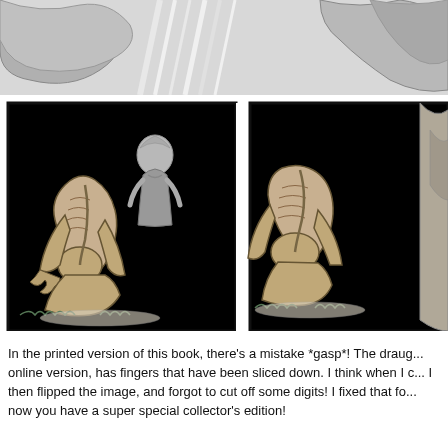[Figure (illustration): Comic book page panels showing dark horror artwork. Top strip: rocky/stone background with dramatic motion lines and dark organic shapes. Middle/main panels: Left panel shows a skeletal/emaciated creature crouched on the ground in a black background, with a ghostly pale figure of a woman standing upright in the background. Right panel shows the same crouched skeletal creature close-up against black background with a teardrop visible. Black ink manga/comic style artwork.]
In the printed version of this book, there's a mistake *gasp*! The draug... online version, has fingers that have been sliced down. I think when I c... I then flipped the image, and forgot to cut off some digits! I fixed that fo... now you have a super special collector's edition!